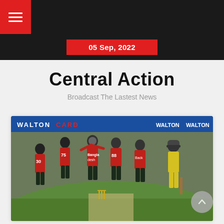☰ navigation menu
05 Sep, 2022
Central Action
Broadcast The Lastest News
[Figure (photo): Bangladesh cricket players in red and black jerseys (numbers 30, 75, 88) celebrating a wicket on the field, with an Australian batsman in yellow walking away. Walton advertising board visible in background.]